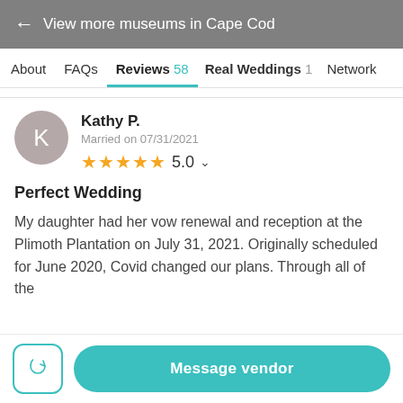← View more museums in Cape Cod
About  FAQs  Reviews 58  Real Weddings 1  Network
Kathy P.
Married on 07/31/2021
★★★★★ 5.0
Perfect Wedding
My daughter had her vow renewal and reception at the Plimoth Plantation on July 31, 2021. Originally scheduled for June 2020, Covid changed our plans. Through all of the
Message vendor